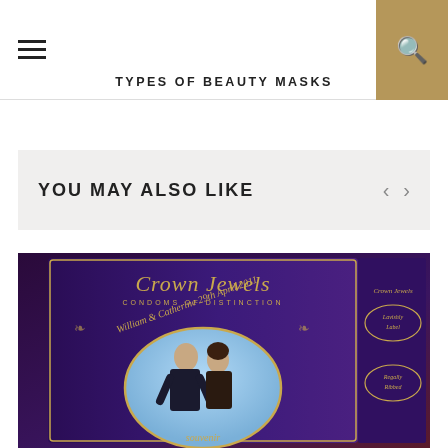TYPES OF BEAUTY MASKS
YOU MAY ALSO LIKE
[Figure (photo): Crown Jewels Condoms of Distinction box featuring William & Catherine 29th April 2011 royal wedding souvenir packaging in purple and gold]